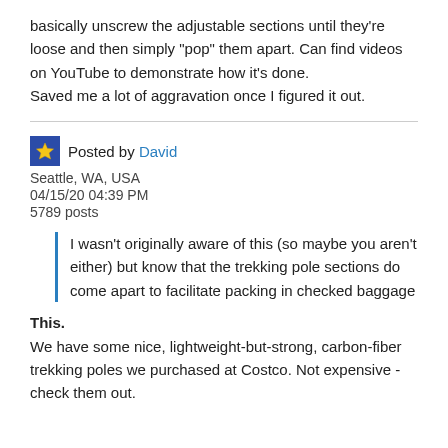basically unscrew the adjustable sections until they're loose and then simply "pop" them apart. Can find videos on YouTube to demonstrate how it's done.
Saved me a lot of aggravation once I figured it out.
Posted by David
Seattle, WA, USA
04/15/20 04:39 PM
5789 posts
I wasn't originally aware of this (so maybe you aren't either) but know that the trekking pole sections do come apart to facilitate packing in checked baggage
This.
We have some nice, lightweight-but-strong, carbon-fiber trekking poles we purchased at Costco. Not expensive - check them out.